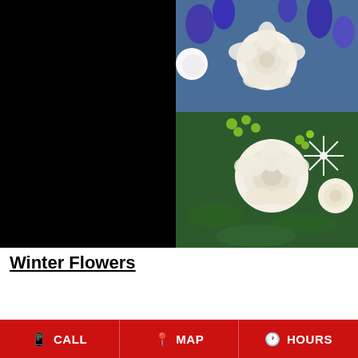[Figure (photo): A floral arrangement featuring white roses, blue/purple flowers, green berries and white spider chrysanthemums. Overlay text reads 'DESIGNER'S CHOICE WINTER'.]
Winter Flowers
Winter is a season of powdery-white snow, fresh cedar and pine, mistletoe and more. This heavy season's beauty is best adored indoors. WHITE'S FLORIST & GREENHOUSES can help you order a festive arrangement of
CALL   MAP   HOURS